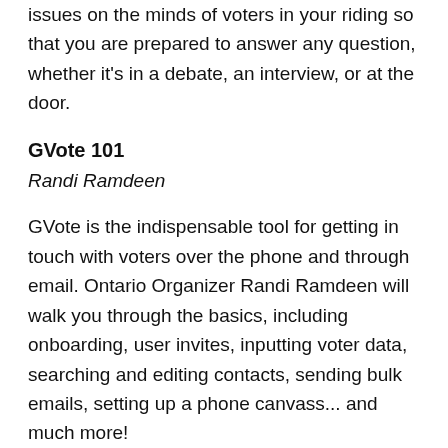issues on the minds of voters in your riding so that you are prepared to answer any question, whether it's in a debate, an interview, or at the door.
GVote 101
Randi Ramdeen
GVote is the indispensable tool for getting in touch with voters over the phone and through email. Ontario Organizer Randi Ramdeen will walk you through the basics, including onboarding, user invites, inputting voter data, searching and editing contacts, sending bulk emails, setting up a phone canvass... and much more!